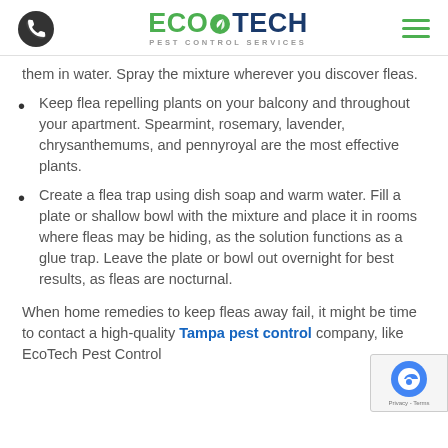EcoTech Pest Control Services
them in water. Spray the mixture wherever you discover fleas.
Keep flea repelling plants on your balcony and throughout your apartment. Spearmint, rosemary, lavender, chrysanthemums, and pennyroyal are the most effective plants.
Create a flea trap using dish soap and warm water. Fill a plate or shallow bowl with the mixture and place it in rooms where fleas may be hiding, as the solution functions as a glue trap. Leave the plate or bowl out overnight for best results, as fleas are nocturnal.
When home remedies to keep fleas away fail, it might be time to contact a high-quality Tampa pest control company, like EcoTech Pest Control